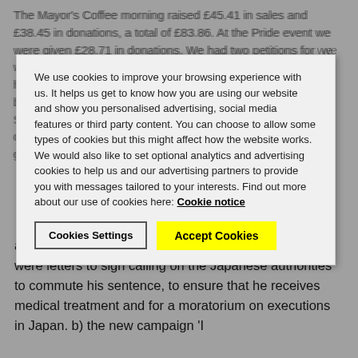The Mayor's Coffee morning raised £45.41 in sales and £38.45 in donations, a total of £83.86. At the Pride event we were given £28.71 in donations. We had two petitions for people to sign, one concerning the homophobic attack in Greece and the other concerning the banning of a pride event in Turkey. The bookstall in Lemon Street raised £3. 37 books were sold and 37 books would be donated to Oxfam. We have recently invested in a new gazebo and weights at a total cost of £85.
[Figure (screenshot): Cookie consent modal overlay with text about cookies, a Cookie notice link, Cookies Settings button, and Accept Cookies button (highlighted yellow).]
Secretary's report: the September groups' email contained information on a campaign for Iwamato Kenji, a Japanese prisoner who has been on death row since 1993, despite having an intellectual disability and being in poor mental and physical health. There were letters to sign calling on the Japanese authorities to commute his sentence, to ensure that he receives medical treatment and for a moratorium on executions in Japan. b) the new campaign 'I